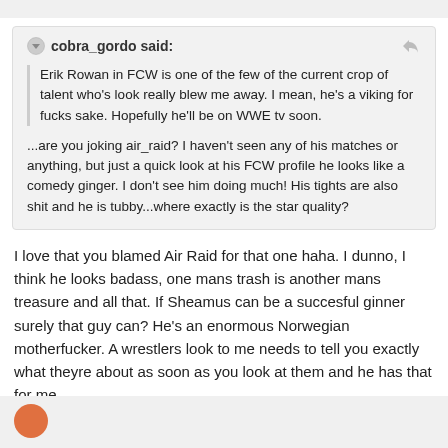cobra_gordo said:
Erik Rowan in FCW is one of the few of the current crop of talent who's look really blew me away. I mean, he's a viking for fucks sake. Hopefully he'll be on WWE tv soon.
...are you joking air_raid? I haven't seen any of his matches or anything, but just a quick look at his FCW profile he looks like a comedy ginger. I don't see him doing much! His tights are also shit and he is tubby...where exactly is the star quality?
I love that you blamed Air Raid for that one haha. I dunno, I think he looks badass, one mans trash is another mans treasure and all that. If Sheamus can be a succesful ginner surely that guy can? He's an enormous Norwegian motherfucker. A wrestlers look to me needs to tell you exactly what theyre about as soon as you look at them and he has that for me.